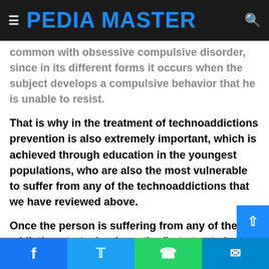PEDIA MASTER
common with obsessive compulsive disorder, since in its different forms it occurs when the subject develops a compulsive behavior that he is unable to resist.
That is why in the treatment of technoaddictions prevention is also extremely important, which is achieved through education in the youngest populations, who are also the most vulnerable to suffer from any of the technoaddictions that we have reviewed above.
Once the person is suffering from any of the addictions to technology, the first step to be able to treat this condition is to ensure that the individual can become aware of wh...
Facebook Twitter WhatsApp Telegram